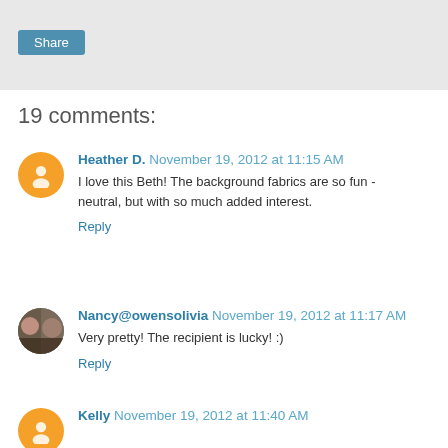[Figure (other): Share button bar with a blue 'Share' button on a light gray background]
19 comments:
Heather D. November 19, 2012 at 11:15 AM
I love this Beth! The background fabrics are so fun - neutral, but with so much added interest.
Reply
Nancy@owensolivia November 19, 2012 at 11:17 AM
Very pretty! The recipient is lucky! :)
Reply
Kelly November 19, 2012 at 11:40 AM